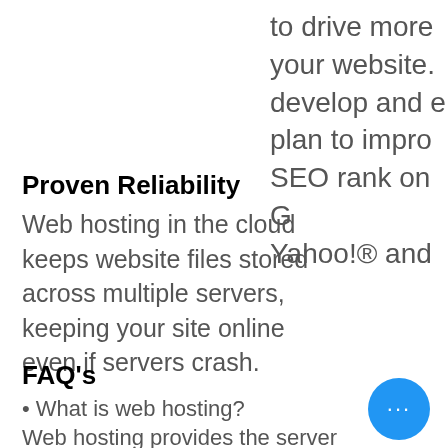to drive more your website. develop and e plan to improv SEO rank on G Yahoo!® and
Proven Reliability
Web hosting in the cloud keeps website files stored across multiple servers, keeping your site online even if servers crash.
FAQ's
What is web hosting?
Web hosting provides the server